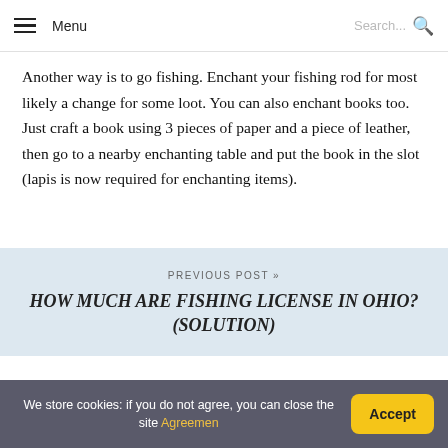Menu | Search...
Another way is to go fishing. Enchant your fishing rod for most likely a change for some loot. You can also enchant books too. Just craft a book using 3 pieces of paper and a piece of leather, then go to a nearby enchanting table and put the book in the slot (lapis is now required for enchanting items).
PREVIOUS POST »
HOW MUCH ARE FISHING LICENSE IN OHIO? (SOLUTION)
We store cookies: if you do not agree, you can close the site Agreemen